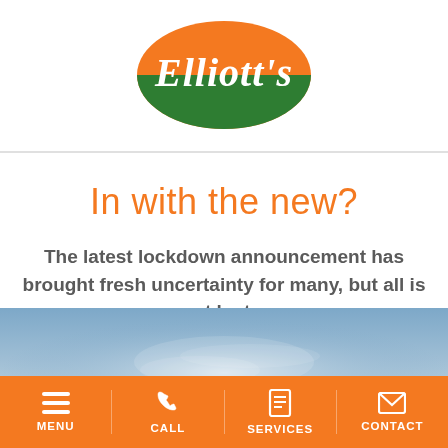[Figure (logo): Elliott's oval logo with orange top half and green bottom half, white cursive text reading Elliott's]
In with the new?
The latest lockdown announcement has brought fresh uncertainty for many, but all is not lost...
[Figure (photo): Blue sky with light clouds and faint landscape silhouette]
MENU  CALL  SERVICES  CONTACT